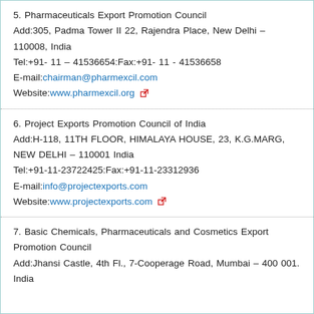5. Pharmaceuticals Export Promotion Council
Add:305, Padma Tower II 22, Rajendra Place, New Delhi – 110008, India
Tel:+91- 11 – 41536654:Fax:+91- 11 - 41536658
E-mail:chairman@pharmexcil.com
Website:www.pharmexcil.org
6. Project Exports Promotion Council of India
Add:H-118, 11TH FLOOR, HIMALAYA HOUSE, 23, K.G.MARG, NEW DELHI – 110001 India
Tel:+91-11-23722425:Fax:+91-11-23312936
E-mail:info@projectexports.com
Website:www.projectexports.com
7. Basic Chemicals, Pharmaceuticals and Cosmetics Export Promotion Council
Add:Jhansi Castle, 4th Fl., 7-Cooperage Road, Mumbai – 400 001. India